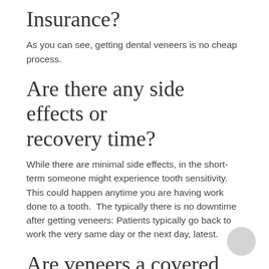Insurance?
As you can see, getting dental veneers is no cheap process.
Are there any side effects or recovery time?
While there are minimal side effects, in the short-term someone might experience tooth sensitivity. This could happen anytime you are having work done to a tooth.  The typically there is no downtime after getting veneers: Patients typically go back to work the very same day or the next day, latest.
Are veneers a covered insurance benefit?
It depends on your dental insurance. Some insurance companies will cover up to 50% of a fee they see as reasonable, but don't expect